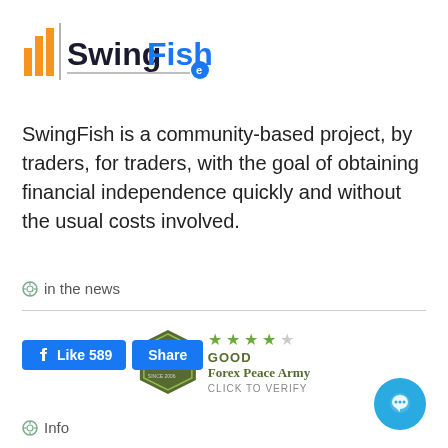[Figure (logo): SwingFish logo with orange/yellow bar chart icon and blue text SwingFish with a small blue e badge]
SwingFish is a community-based project, by traders, for traders, with the goal of obtaining financial independence quickly and without the usual costs involved.
in the news
[Figure (other): Forex Peace Army FPA badge with 4 out of 5 green stars, labeled GOOD, Forex Peace Army, CLICK TO VERIFY]
[Figure (other): Facebook Like 589 and Share buttons in blue]
Info
[Figure (other): Blue circular chat bubble button in the bottom right corner]